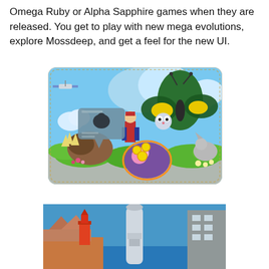Omega Ruby or Alpha Sapphire games when they are released. You get to play with new mega evolutions, explore Mossdeep, and get a feel for the new UI.
[Figure (illustration): Colorful Pokémon game promotional artwork showing a trainer character standing in a natural outdoor setting with several Pokémon including a large butterfly-type Pokémon (Beautifly/Butterfree mega evolution), a small smiling Pokémon, a bat-like Pokémon highlighted in orange outline in the foreground, and other Pokémon. A Pokémon radar/scanner popup shows a silhouette. Satellites are visible in the upper left. Background has blue sky and clouds.]
[Figure (screenshot): Screenshot from Pokémon Omega Ruby or Alpha Sapphire showing a 3D rendered outdoor area, likely Mossdeep City, with a large rocket or tower structure in the center, a red lighthouse or building on the left, blue water, and a tall building on the right with rectangular windows.]